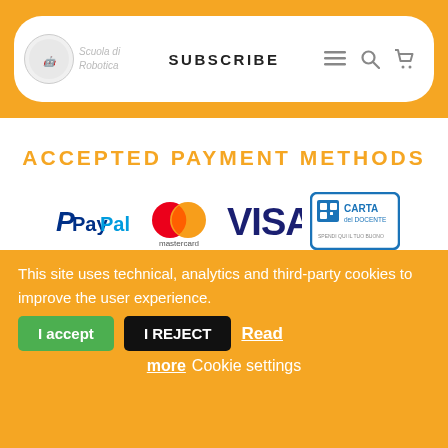[Figure (screenshot): Orange navigation bar with Scuola di Robotica logo on left, SUBSCRIBE text in center, search and cart icons on right]
ACCEPTED PAYMENT METHODS
[Figure (logo): PayPal logo in blue]
[Figure (logo): Mastercard logo with red and orange overlapping circles]
[Figure (logo): VISA logo in dark blue]
[Figure (logo): Carta del Docente logo in blue and white]
© Scuola di Robotica  |  All Rights Reserved  |  Powered by Scuola di Robotica  |  info@scuoladirobotica.it  |  +39 348 9961616 +39 010 8176146  |
This site uses technical, analytics and third-party cookies to improve the user experience.
I accept
I REJECT
Read more  Cookie settings